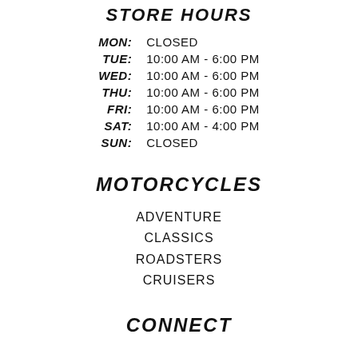STORE HOURS
| Day | Hours |
| --- | --- |
| MON: | CLOSED |
| TUE: | 10:00 AM - 6:00 PM |
| WED: | 10:00 AM - 6:00 PM |
| THU: | 10:00 AM - 6:00 PM |
| FRI: | 10:00 AM - 6:00 PM |
| SAT: | 10:00 AM - 4:00 PM |
| SUN: | CLOSED |
MOTORCYCLES
ADVENTURE
CLASSICS
ROADSTERS
CRUISERS
CONNECT